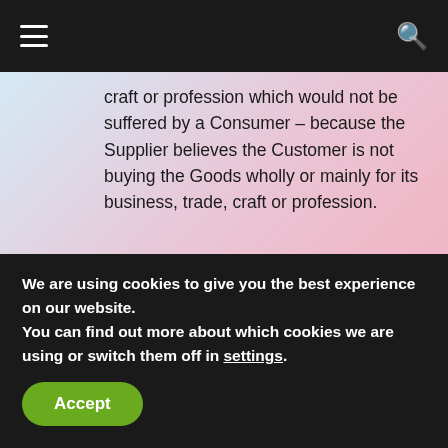≡  [navigation]  🔍
craft or profession which would not be suffered by a Consumer – because the Supplier believes the Customer is not buying the Goods wholly or mainly for its business, trade, craft or profession.
Governing law, jurisdiction and complaints
64. The Contract (including any non-contractual matters) is governed by the law of England and Wales.
65. Disputes can be submitted to the jurisdiction of the courts of England and Walesor, where the Customer lives in Scotland or Northern Ireland, in
We are using cookies to give you the best experience on our website.
You can find out more about which cookies we are using or switch them off in settings.
Accept